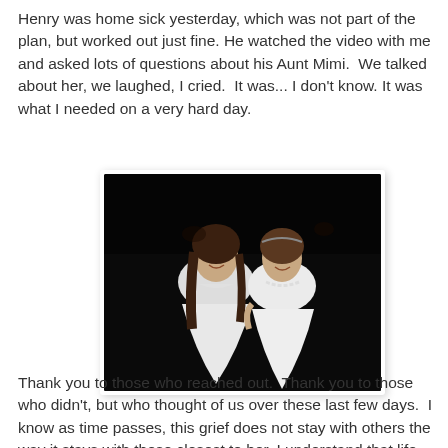Henry was home sick yesterday, which was not part of the plan, but worked out just fine. He watched the video with me and asked lots of questions about his Aunt Mimi.  We talked about her, we laughed, I cried.  It was... I don't know. It was what I needed on a very hard day.
[Figure (photo): Two young women in white dresses posing together, smiling, against a dark background. The woman on the right wears a pearl necklace.]
Thank you to those who reached out.  Thank you to those who didn't, but who thought of us over these last few days.  I know as time passes, this grief does not stay with others the way it stays with those closest to her. I understand that life